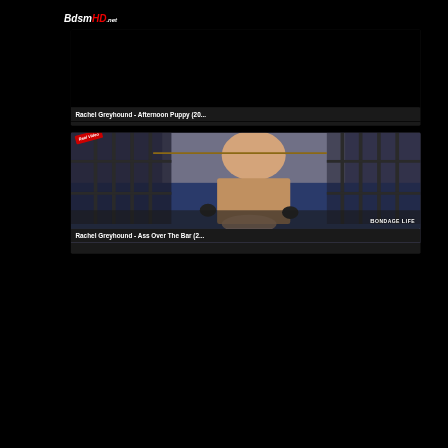BdsmHD.net
[Figure (screenshot): Video thumbnail card 1: dark/black thumbnail for Rachel Greyhound - Afternoon Puppy]
Rachel Greyhound - Afternoon Puppy (20...
[Figure (photo): Video thumbnail card 2: photo showing bondage scene with 'Real Video' badge and Bondage Life watermark]
Rachel Greyhound - Ass Over The Bar (2...